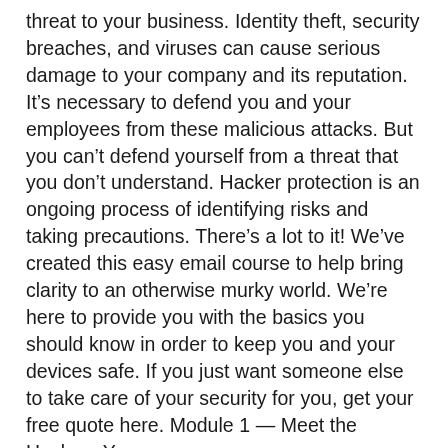threat to your business. Identity theft, security breaches, and viruses can cause serious damage to your company and its reputation. It’s necessary to defend you and your employees from these malicious attacks. But you can’t defend yourself from a threat that you don’t understand. Hacker protection is an ongoing process of identifying risks and taking precautions. There’s a lot to it! We’ve created this easy email course to help bring clarity to an otherwise murky world. We’re here to provide you with the basics you should know in order to keep you and your devices safe. If you just want someone else to take care of your security for you, get your free quote here. Module 1 — Meet the Hackers You